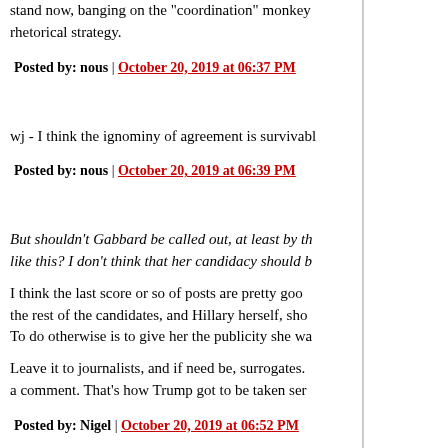stand now, banging on the "coordination" monkey... rhetorical strategy.
Posted by: nous | October 20, 2019 at 06:37 PM
wj - I think the ignominy of agreement is survivabl...
Posted by: nous | October 20, 2019 at 06:39 PM
But shouldn't Gabbard be called out, at least by th... like this? I don't think that her candidacy should b...
I think the last score or so of posts are pretty goo... the rest of the candidates, and Hillary herself, sho... To do otherwise is to give her the publicity she wa...
Leave it to journalists, and if need be, surrogates.... a comment. That's how Trump got to be taken ser...
Posted by: Nigel | October 20, 2019 at 06:52 PM
but state-sponsored trolling shouldn't be tolerated...
Of course not, but while Trump is in the White H...